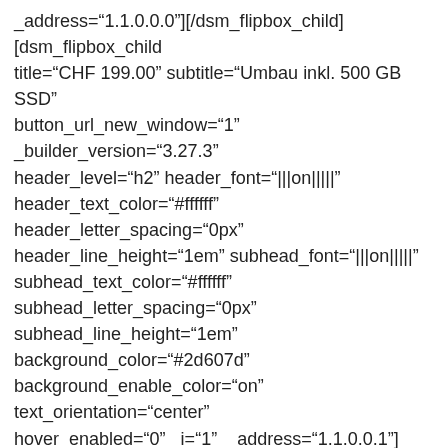_address="1.1.0.0.0"][/dsm_flipbox_child][dsm_flipbox_child title="CHF 199.00" subtitle="Umbau inkl. 500 GB SSD" button_url_new_window="1" _builder_version="3.27.3" header_level="h2" header_font="|||on|||||" header_text_color="#ffffff" header_letter_spacing="0px" header_line_height="1em" subhead_font="|||on|||||" subhead_text_color="#ffffff" subhead_letter_spacing="0px" subhead_line_height="1em" background_color="#2d607d" background_enable_color="on" text_orientation="center" hover_enabled="0" _i="1" _address="1.1.0.0.1"][/dsm_flipbox_child][/dsm_flipbox][/et_pb_column][et_pb_column type="1_3" _builder_version="3.27.3" _i="1" _address="1.1.1"][dsm_flipbox _builder_version="3.27.3" _i="0" _address="1.1.1.0"][dsm_flipbox_child title="Virenschutz" subtitle="Bleiben Sie geschützt" use_icon="on" font_icon="%%287%%" icon_color="#ffffff" button_url_new_window="1" _builder_version="3.27.3" header_font="|||on|||||" header_text_color="#ffffff"